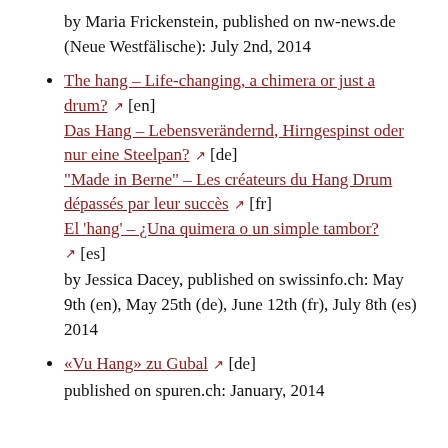by Maria Frickenstein, published on nw-news.de (Neue Westfälische): July 2nd, 2014
The hang – Life-changing, a chimera or just a drum? [en] Das Hang – Lebensverändernd, Hirngespinst oder nur eine Steelpan? [de] "Made in Berne" – Les créateurs du Hang Drum dépassés par leur succès [fr] El 'hang' – ¿Una quimera o un simple tambor? [es] by Jessica Dacey, published on swissinfo.ch: May 9th (en), May 25th (de), June 12th (fr), July 8th (es) 2014
«Vu Hang» zu Gubal [de] published on spuren.ch: January, 2014